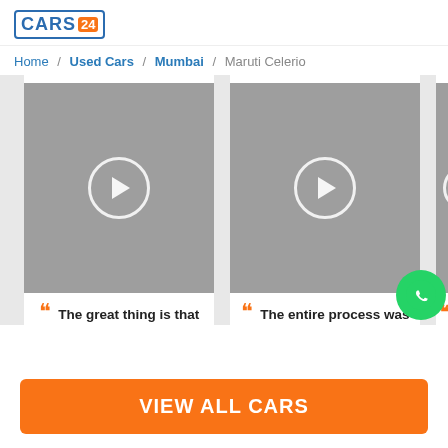[Figure (logo): CARS24 logo with orange 24 badge and diagonal slash]
Home / Used Cars / Mumbai / Maruti Celerio
[Figure (screenshot): Three video cards with gray thumbnails and play buttons. First card quote: The great thing is that CARS24. Second card quote: The entire process was. Third card partially visible with WhatsApp icon overlay.]
VIEW ALL CARS